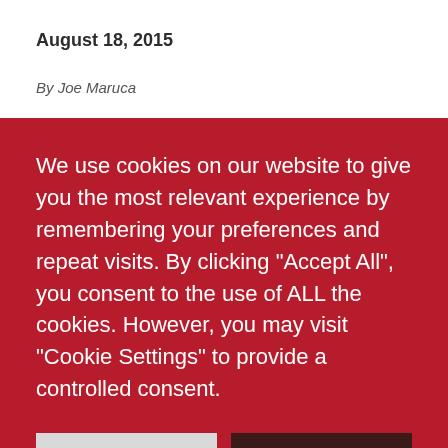August 18, 2015
By Joe Maruca
We use cookies on our website to give you the most relevant experience by remembering your preferences and repeat visits. By clicking “Accept All”, you consent to the use of ALL the cookies. However, you may visit "Cookie Settings" to provide a controlled consent.
COOKIE SETTINGS
ACCEPT ALL